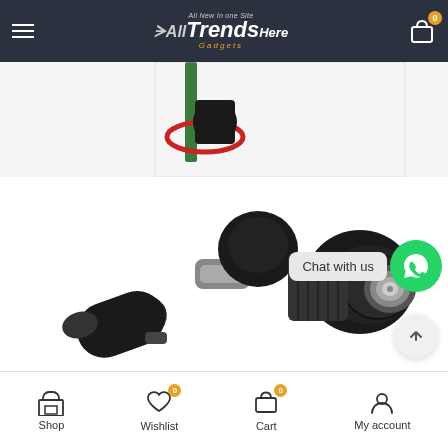All Trends Here Gadgets - navigation header with hamburger menu, logo, and cart icon
[Figure (photo): Partial view of a garden hose sprinkler product with green stake and red spiral, cropped at top of image area]
[Figure (photo): Close-up product photo of a black garden hose nozzle/sprayer with adjustable nozzle head, showing two nozzle components side by side on white background]
Chat with us
Shop | Wishlist (0) | Cart (0) | My account